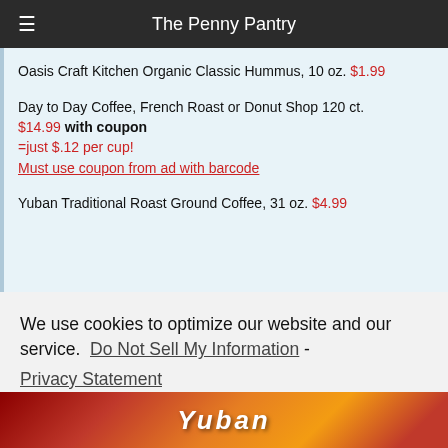The Penny Pantry
Oasis Craft Kitchen Organic Classic Hummus, 10 oz. $1.99
Day to Day Coffee, French Roast or Donut Shop 120 ct. $14.99 with coupon =just $.12 per cup! Must use coupon from ad with barcode
Yuban Traditional Roast Ground Coffee, 31 oz. $4.99
We use cookies to optimize our website and our service.  Do Not Sell My Information - Privacy Statement
Accept
[Figure (photo): Bottom strip showing Yuban coffee product packaging image]